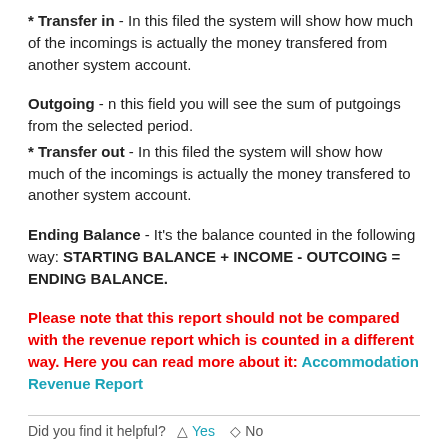* Transfer in - In this filed the system will show how much of the incomings is actually the money transfered from another system account.
Outgoing - n this field you will see the sum of putgoings from the selected period.
* Transfer out - In this filed the system will show how much of the incomings is actually the money transfered to another system account.
Ending Balance - It's the balance counted in the following way: STARTING BALANCE + INCOME - OUTCOING = ENDING BALANCE.
Please note that this report should not be compared with the revenue report which is counted in a different way. Here you can read more about it: Accommodation Revenue Report
Did you find it helpful? Yes No